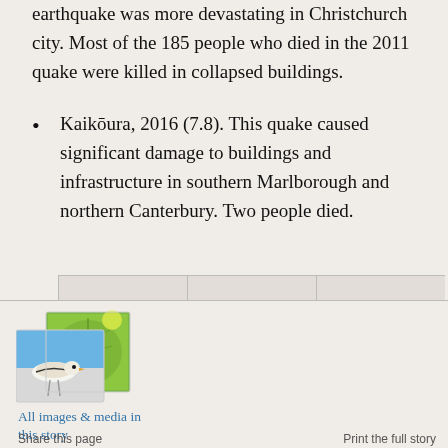earthquake was more devastating in Christchurch city. Most of the 185 people who died in the 2011 quake were killed in collapsed buildings.
Kaikōura, 2016 (7.8). This quake caused significant damage to buildings and infrastructure in southern Marlborough and northern Canterbury. Two people died.
[Figure (photo): Three image thumbnails arranged in a strip — a bird photo overlapping a green leaf/plant photo]
All images & media in this story
Share this page
Print the full story